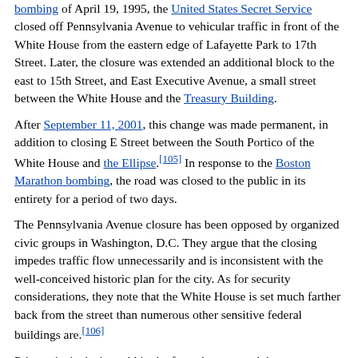bombing of April 19, 1995, the United States Secret Service closed off Pennsylvania Avenue to vehicular traffic in front of the White House from the eastern edge of Lafayette Park to 17th Street. Later, the closure was extended an additional block to the east to 15th Street, and East Executive Avenue, a small street between the White House and the Treasury Building.
After September 11, 2001, this change was made permanent, in addition to closing E Street between the South Portico of the White House and the Ellipse.[105] In response to the Boston Marathon bombing, the road was closed to the public in its entirety for a period of two days.
The Pennsylvania Avenue closure has been opposed by organized civic groups in Washington, D.C. They argue that the closing impedes traffic flow unnecessarily and is inconsistent with the well-conceived historic plan for the city. As for security considerations, they note that the White House is set much farther back from the street than numerous other sensitive federal buildings are.[106]
Prior to its inclusion within the fenced compound that now includes the Old Executive Office Building to the west and the Treasury Building to the east, this sidewalk [clarification needed]